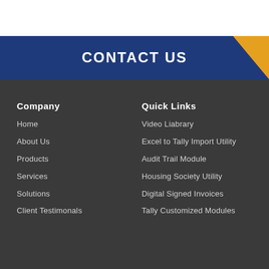CONTACT US
Company
Home
About Us
Products
Services
Solutions
Client Testimonals
Quick Links
Video Liabrary
Excel to Tally Import Utility
Audit Trail Module
Housing Society Utility
Digital Signed Invoices
Tally Customized Modules